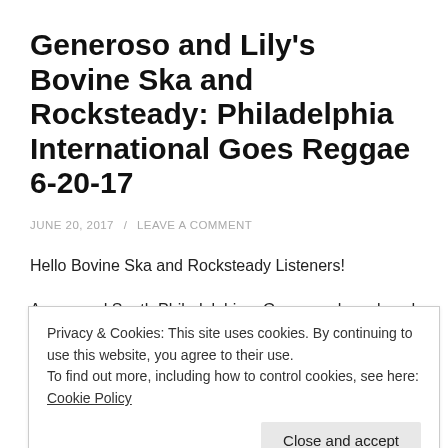Generoso and Lily's Bovine Ska and Rocksteady: Philadelphia International Goes Reggae 6-20-17
JUNE 20, 2017 / LEAVE A COMMENT
Hello Bovine Ska and Rocksteady Listeners!
As a proud South Philadelphian, Generoso has played disco as the background music for the Bovine Ska since its inception in 1996 at WMBR in Cambridge, and that is
Privacy & Cookies: This site uses cookies. By continuing to use this website, you agree to their use.
To find out more, including how to control cookies, see here: Cookie Policy
Close and accept
Griffith, Ken Rose, and Billie...